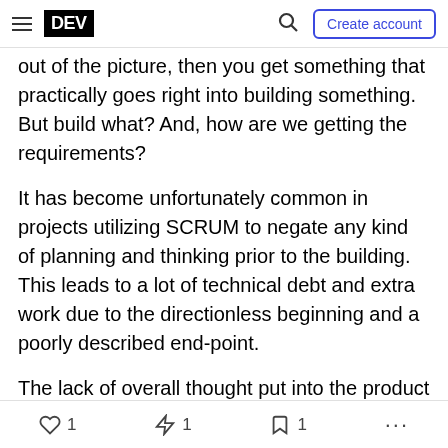DEV | Create account
out of the picture, then you get something that practically goes right into building something. But build what? And, how are we getting the requirements?
It has become unfortunately common in projects utilizing SCRUM to negate any kind of planning and thinking prior to the building. This leads to a lot of technical debt and extra work due to the directionless beginning and a poorly described end-point.
The lack of overall thought put into the product by non-technical and technical members has been a
❤ 1   🔥 1   🔖 1   ...